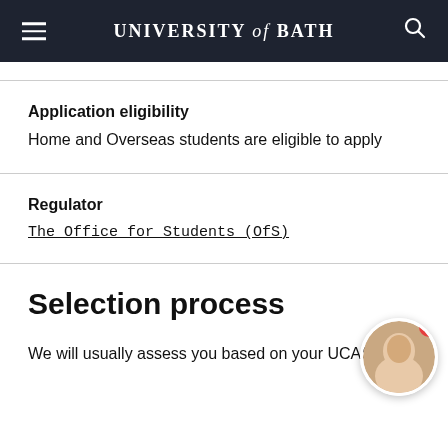UNIVERSITY of BATH
Application eligibility
Home and Overseas students are eligible to apply
Regulator
The Office for Students (OfS)
Selection process
We will usually assess you based on your UCAS